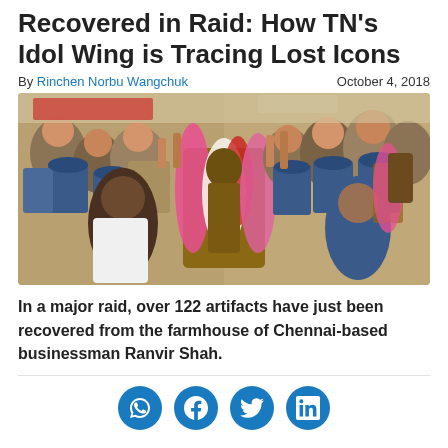Recovered in Raid: How TN's Idol Wing is Tracing Lost Icons
By Rinchen Norbu Wangchuk    October 4, 2018
[Figure (photo): Police officers and crowd holding a garland-decorated idol recovered in a raid in Tamil Nadu]
In a major raid, over 122 artifacts have just been recovered from the farmhouse of Chennai-based businessman Ranvir Shah.